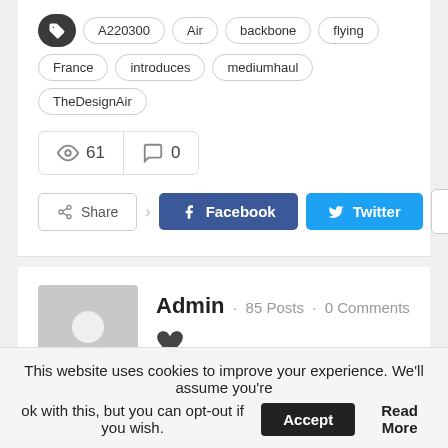A220300  Air  backbone  flying  France  introduces  mediumhaul  TheDesignAir
61 views  0 comments
Share  Facebook  Twitter  +
Admin  ·  85 Posts  ·  0 Comments
This website uses cookies to improve your experience. We'll assume you're ok with this, but you can opt-out if you wish.  Accept  Read More